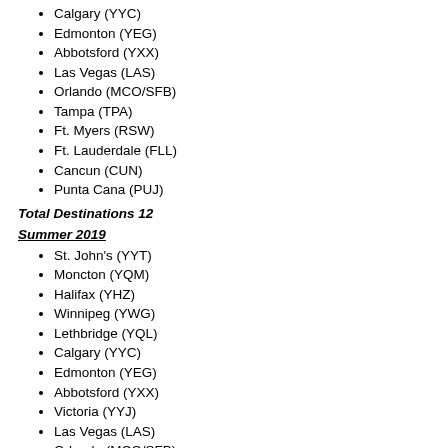Calgary (YYC)
Edmonton (YEG)
Abbotsford (YXX)
Las Vegas (LAS)
Orlando (MCO/SFB)
Tampa (TPA)
Ft. Myers (RSW)
Ft. Lauderdale (FLL)
Cancun (CUN)
Punta Cana (PUJ)
Total Destinations 12
Summer 2019
St. John's (YYT)
Moncton (YQM)
Halifax (YHZ)
Winnipeg (YWG)
Lethbridge (YQL)
Calgary (YYC)
Edmonton (YEG)
Abbotsford (YXX)
Victoria (YYJ)
Las Vegas (LAS)
Orlando (MCO/SFB)
Ft. Lauderdale (FLL)
Total Destinations 12